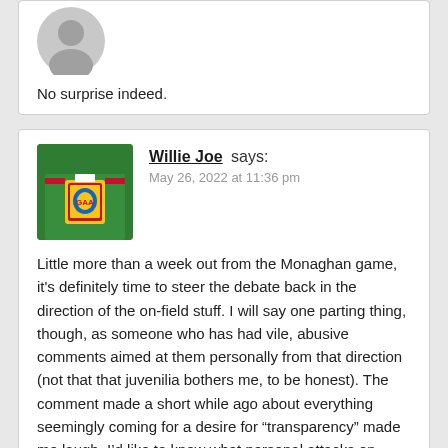[Figure (other): Gray circular avatar placeholder for anonymous commenter]
No surprise indeed.
[Figure (photo): Profile photo of Willie Joe showing a green jersey with a GAA county crest badge]
Willie Joe says:
May 26, 2022 at 11:36 pm
Little more than a week out from the Monaghan game, it's definitely time to steer the debate back in the direction of the on-field stuff. I will say one parting thing, though, as someone who has had vile, abusive comments aimed at them personally from that direction (not that that juvenilia bothers me, to be honest). The comment made a short while ago about everything seemingly coming for a desire for “transparency” made me laugh. I’d like to know what personal attacks on someone like me has to do with such a desire. I’ll say no more.